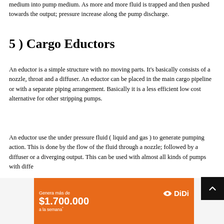medium into pump medium. As more and more fluid is trapped and then pushed towards the output; pressure increase along the pump discharge.
5 ) Cargo Eductors
An eductor is a simple structure with no moving parts. It's basically consists of a nozzle, throat and a diffuser. An eductor can be placed in the main cargo pipeline or with a separate piping arrangement. Basically it is a less efficient low cost alternative for other stripping pumps.
An eductor use the under pressure fluid ( liquid and gas ) to generate pumping action. This is done by the flow of the fluid through a nozzle; followed by a diffuser or a diverging output. This can be used with almost all kinds of pumps with diffe...
[Figure (infographic): DiDi advertisement banner: orange background with text 'Genera más de $1.700.000 a la semana*' and DiDi logo]